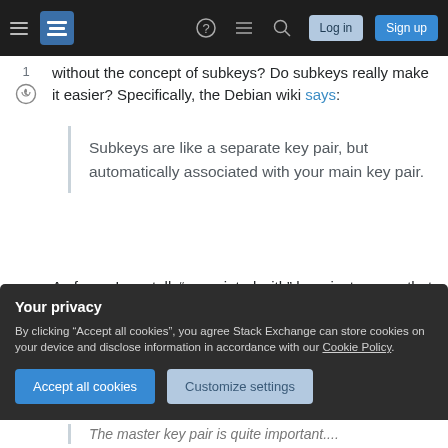Stack Exchange navigation bar with hamburger menu, logo, help, chat, search icons, Log in and Sign up buttons
without the concept of subkeys? Do subkeys really make it easier? Specifically, the Debian wiki says:
Subkeys are like a separate key pair, but automatically associated with your main key pair.
As far as I can tell, "associated with" here just means that they're automatically grouped together in the UI, for user convenience, but I could achieve
Your privacy
By clicking "Accept all cookies", you agree Stack Exchange can store cookies on your device and disclose information in accordance with our Cookie Policy.
The master key pair is quite important....